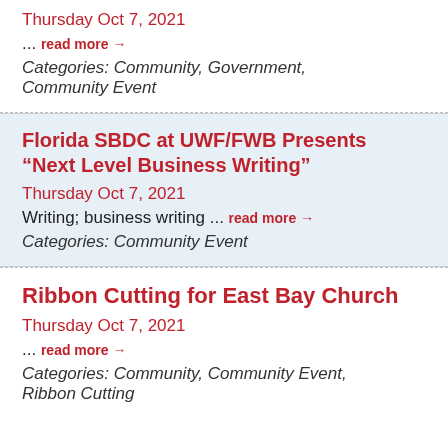Thursday Oct 7, 2021
... read more →
Categories: Community, Government, Community Event
Florida SBDC at UWF/FWB Presents "Next Level Business Writing"
Thursday Oct 7, 2021
Writing; business writing ... read more →
Categories: Community Event
Ribbon Cutting for East Bay Church
Thursday Oct 7, 2021
... read more →
Categories: Community, Community Event, Ribbon Cutting